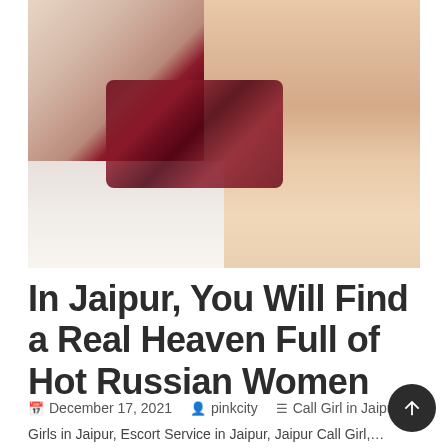[Figure (photo): A photograph of a person lying on white sheets wearing dark red/maroon lingerie, cropped to show torso and legs]
In Jaipur, You Will Find a Real Heaven Full of Hot Russian Women
December 17, 2021   pinkcity   Call Girl in Jaipur, C
Girls in Jaipur, Escort Service in Jaipur, Jaipur Call Girl, Jaipur Call